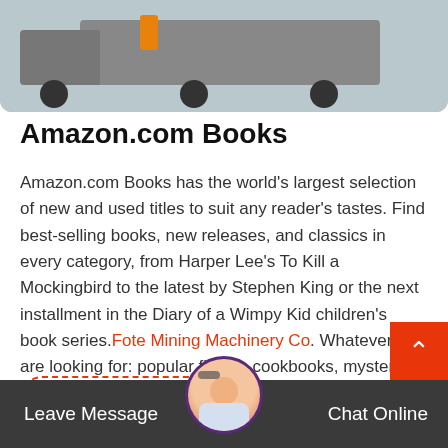[Figure (photo): Truck/vehicle with orange-clad workers on a road, photo partially visible at top of page]
Amazon.com Books
Amazon.com Books has the world’s largest selection of new and used titles to suit any reader’s tastes. Find best-selling books, new releases, and classics in every category, from Harper Lee’s To Kill a Mockingbird to the latest by Stephen King or the next installment in the Diary of a Wimpy Kid children’s book series.Fote Mining Machinery Co. Whatever you are looking for: popular fiction, cookbooks, mystery ...
Read More
[Figure (photo): Customer service avatar - woman with headset in a circular purple-bordered photo]
Leave Message
Chat Online